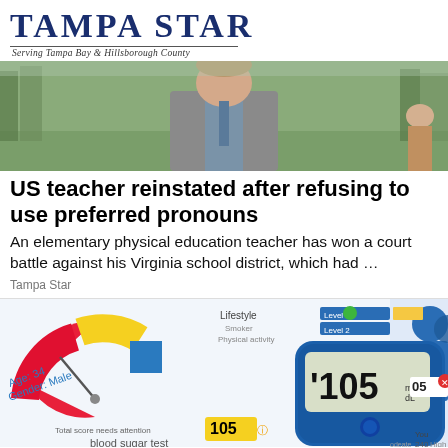Tampa Star — Serving Tampa Bay & Hillsborough County
[Figure (photo): A man in a grey suit jacket and blue shirt, outdoors with trees in the background.]
US teacher reinstated after refusing to use preferred pronouns
An elementary physical education teacher has won a court battle against his Virginia school district, which had …
Tampa Star
[Figure (photo): A blood glucose meter showing '105 mg/dL', surrounded by medical charts showing lifestyle data including age 34, gender male, total score needing attention, blood sugar test, and risk level indicators.]